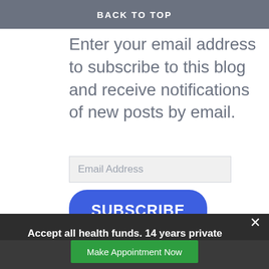BACK TO TOP
Enter your email address to subscribe to this blog and receive notifications of new posts by email.
Email Address
SUBSCRIBE
Accept all health funds. 14 years private practice exp. Open 7 days. Start with $95/Hr.
Join 14 other su...
Make Appointment Now